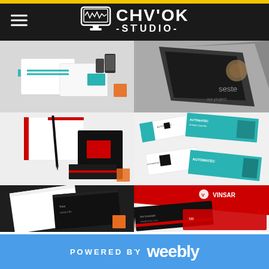[Figure (screenshot): CHV'OK STUDIO website header with logo (computer monitor icon with CHV'OK STUDIO text) and hamburger menu on dark background]
[Figure (photo): Portfolio grid showing 6 branding/stationery design mockups: teal branding set, dark book/card, black-red stationery set, Automatec business cards, dark stationery, Vinsar red business cards]
POWERED BY  weebly